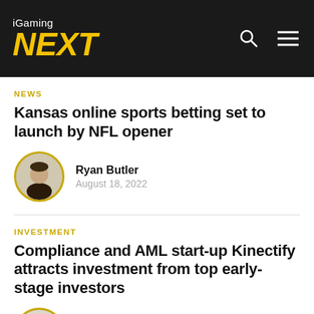iGaming NEXT
NEWS
Kansas online sports betting set to launch by NFL opener
Ryan Butler
August 18, 2022
INVESTMENT
Compliance and AML start-up Kinectify attracts investment from top early-stage investors
Sonja Lindenberg
August 18, 2022